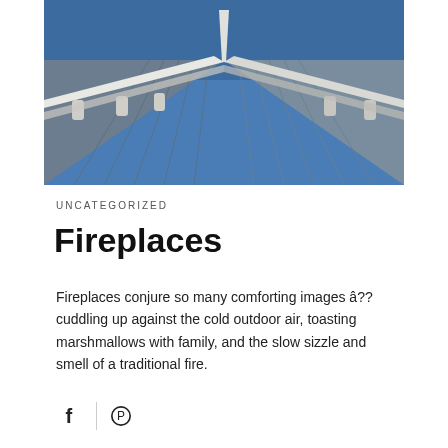[Figure (photo): Architectural photo showing the roofline peak of a building with blue/grey vertical siding, white trim/eaves, and a blue sky background]
UNCATEGORIZED
Fireplaces
Fireplaces conjure so many comforting images â?? cuddling up against the cold outdoor air, toasting marshmallows with family, and the slow sizzle and smell of a traditional fire.
[Figure (illustration): Social sharing icons: Facebook (f) and Pinterest (circle with P)]